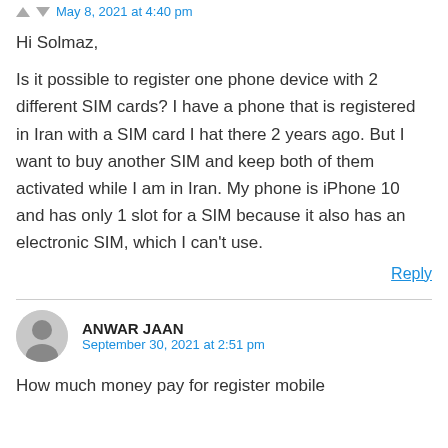May 8, 2021 at 4:40 pm
Hi Solmaz,
Is it possible to register one phone device with 2 different SIM cards? I have a phone that is registered in Iran with a SIM card I hat there 2 years ago. But I want to buy another SIM and keep both of them activated while I am in Iran. My phone is iPhone 10 and has only 1 slot for a SIM because it also has an electronic SIM, which I can't use.
Reply
ANWAR JAAN
September 30, 2021 at 2:51 pm
How much money pay for register mobile